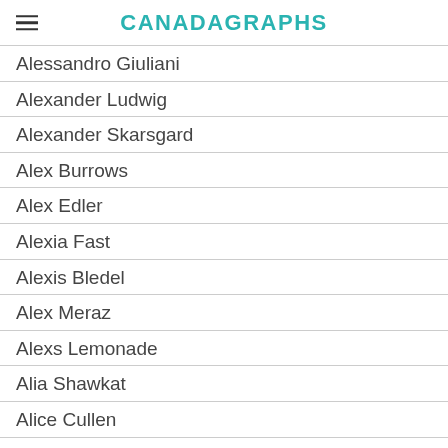CANADAGRAPHS
Alessandro Giuliani
Alexander Ludwig
Alexander Skarsgard
Alex Burrows
Alex Edler
Alexia Fast
Alexis Bledel
Alex Meraz
Alexs Lemonade
Alia Shawkat
Alice Cullen
Alice Verdura
Alicia Silverstone
Ali Liebert